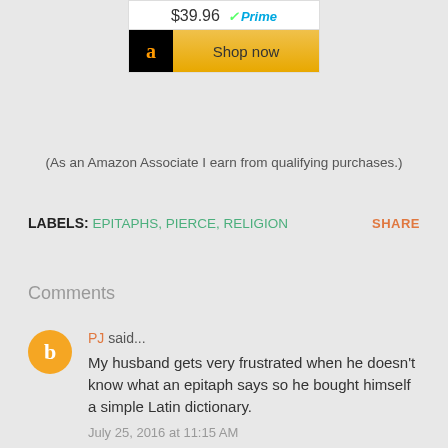[Figure (other): Amazon product widget showing price $39.96 with Prime badge and a 'Shop now' button with Amazon logo]
(As an Amazon Associate I earn from qualifying purchases.)
LABELS: EPITAPHS, PIERCE, RELIGION    SHARE
Comments
PJ said...  My husband gets very frustrated when he doesn't know what an epitaph says so he bought himself a simple Latin dictionary.  July 25, 2016 at 11:15 AM